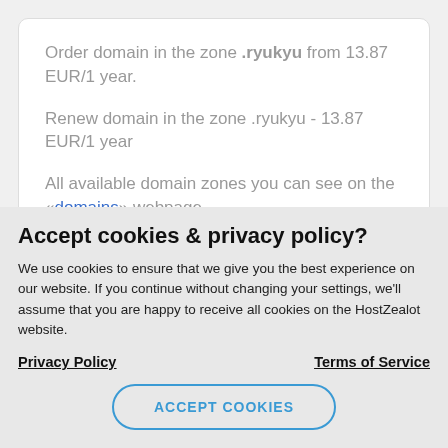Order domain in the zone .ryukyu from 13.87 EUR/1 year.
Renew domain in the zone .ryukyu - 13.87 EUR/1 year
All available domain zones you can see on the «domains» webpage
Accept cookies & privacy policy?
We use cookies to ensure that we give you the best experience on our website. If you continue without changing your settings, we'll assume that you are happy to receive all cookies on the HostZealot website.
Privacy Policy      Terms of Service
ACCEPT COOKIES